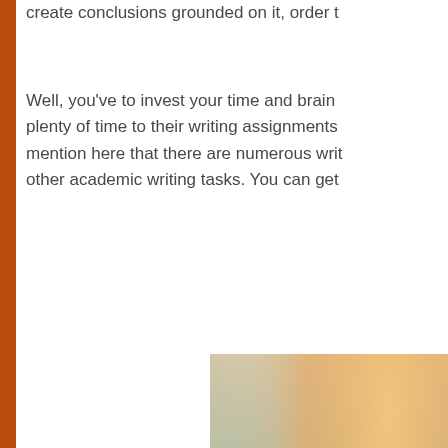create conclusions grounded on it, order t...
Well, you've to invest your time and brain plenty of time to their writing assignments mention here that there are numerous writ other academic writing tasks. You can get
[Figure (photo): A blurred photograph of a pen or pencil resting on paper, with soft bokeh light effects in warm orange and cool green tones in the background.]
Therefore, to start writing your research es...